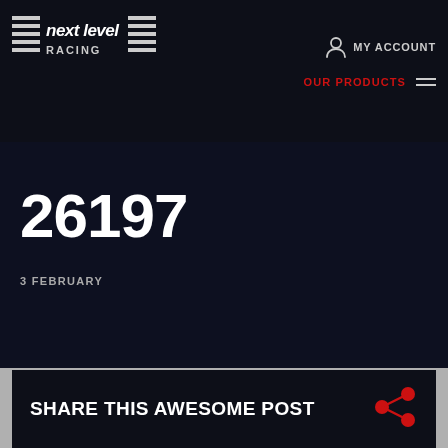[Figure (logo): Next Level Racing logo with horizontal lines and text]
MY ACCOUNT
OUR PRODUCTS
26197
3 FEBRUARY
SHARE THIS AWESOME POST